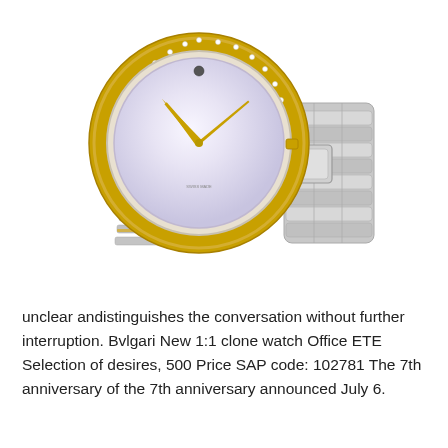[Figure (photo): A luxury women's wristwatch with a round diamond-encrusted bezel set in two-tone gold and silver. The watch face is white/mother-of-pearl with gold arrow hands and a single dot index at 12 o'clock. The bracelet is a silver metal link band. The watch is shown at an angle, clasp visible on the right.]
unclear andistinguishes the conversation without further interruption. Bvlgari New 1:1 clone watch Office ETE Selection of desires, 500 Price SAP code: 102781 The 7th anniversary of the 7th anniversary announced July 6.